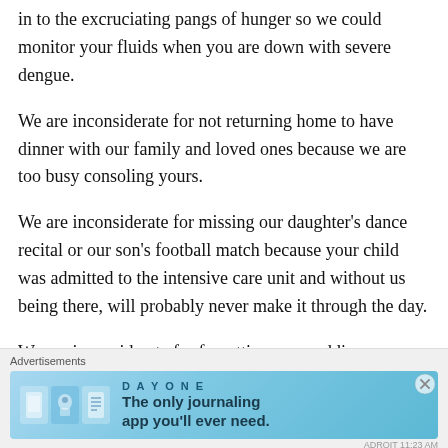in to the excruciating pangs of hunger so we could monitor your fluids when you are down with severe dengue.
We are inconsiderate for not returning home to have dinner with our family and loved ones because we are too busy consoling yours.
We are inconsiderate for missing our daughter's dance recital or our son's football match because your child was admitted to the intensive care unit and without us being there, will probably never make it through the day.
We are inconsiderate for forgetting our wedding anniversary because our mind was filled with the thoughts of our patients undergoing complications in labour…
Advertisements
[Figure (other): Day One journaling app advertisement banner with text: The only journaling app you'll ever need.]